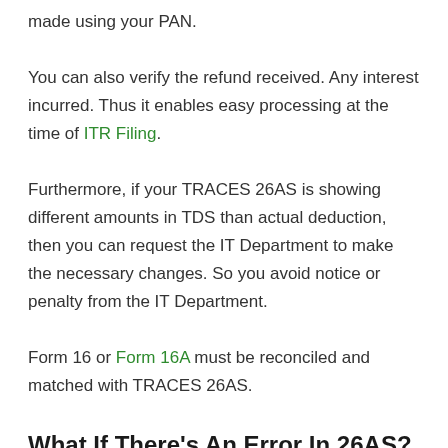made using your PAN.
You can also verify the refund received. Any interest incurred. Thus it enables easy processing at the time of ITR Filing.
Furthermore, if your TRACES 26AS is showing different amounts in TDS than actual deduction, then you can request the IT Department to make the necessary changes. So you avoid notice or penalty from the IT Department.
Form 16 or Form 16A must be reconciled and matched with TRACES 26AS.
What If There's An Error In 26AS?
It might be due to PAN being incorrectly entered or